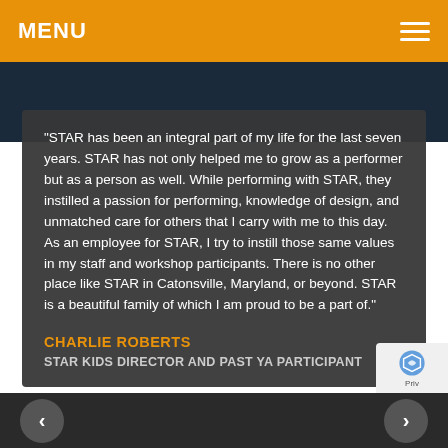MENU
“STAR has been an integral part of my life for the last seven years. STAR has not only helped me to grow as a performer but as a person as well. While performing with STAR, they instilled a passion for performing, knowledge of design, and unmatched care for others that I carry with me to this day. As an employee for STAR, I try to instill those same values in my staff and workshop participants. There is no other place like STAR in Catonsville, Maryland, or beyond. STAR is a beautiful family of which I am proud to be a part of.”
CHARLIE ROBERTS
STAR KIDS DIRECTOR AND PAST YA PARTICIPANT